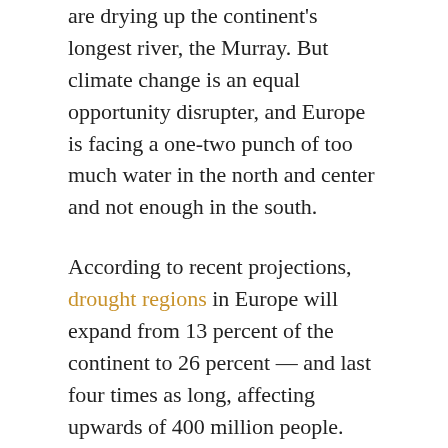are drying up the continent's longest river, the Murray. But climate change is an equal opportunity disrupter, and Europe is facing a one-two punch of too much water in the north and center and not enough in the south.
According to recent projections, drought regions in Europe will expand from 13 percent of the continent to 26 percent — and last four times as long, affecting upwards of 400 million people. Southern France, Italy, Spain, Portugal, and Greece will be particularly hard hit, though how hard will depend on whether the planet's temperature hike is kept to 1.5 degrees centigrade or rises to 3 degrees centigrade.
Northern and Central Europe, on the other hand, will experience more precipitation and consequent flooding. Upward of a million people would be